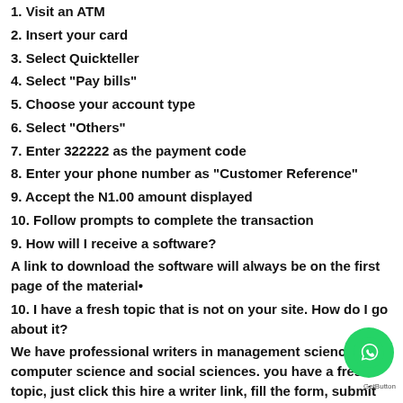1. Visit an ATM
2. Insert your card
3. Select Quickteller
4. Select "Pay bills"
5. Choose your account type
6. Select "Others"
7. Enter 322222 as the payment code
8. Enter your phone number as "Customer Reference"
9. Accept the N1.00 amount displayed
10. Follow prompts to complete the transaction
9. How will I receive a software?
A link to download the software will always be on the first page of the material•
10. I have a fresh topic that is not on your site. How do I go about it?
We have professional writers in management sciences, computer science and social sciences. you have a fresh topic, just click this hire a writer link, fill the form, submit the details and one of our